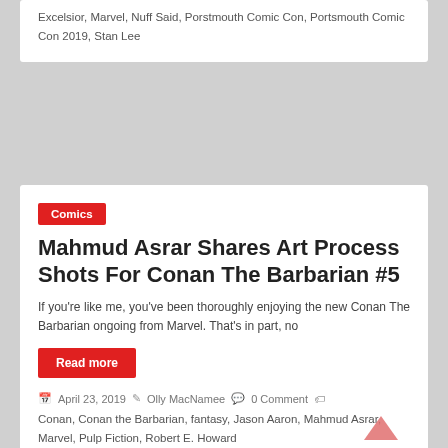Excelsior, Marvel, Nuff Said, Porstmouth Comic Con, Portsmouth Comic Con 2019, Stan Lee
Comics
Mahmud Asrar Shares Art Process Shots For Conan The Barbarian #5
If you're like me, you've been thoroughly enjoying the new Conan The Barbarian ongoing from Marvel. That's in part, no
Read more
April 23, 2019  Olly MacNamee  0 Comment
Conan, Conan the Barbarian, fantasy, Jason Aaron, Mahmud Asrar, Marvel, Pulp Fiction, Robert E. Howard